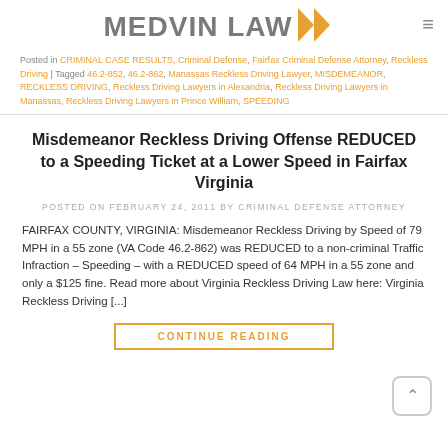MEDVIN LAW
Posted in CRIMINAL CASE RESULTS, Criminal Defense, Fairfax Criminal Defense Attorney, Reckless Driving | Tagged 46.2-852, 46.2-862, Manassas Reckless Driving Lawyer, MISDEMEANOR, RECKLESS DRIVING, Reckless Driving Lawyers in Alexandria, Reckless Driving Lawyers in Manassas, Reckless Driving Lawyers in Prince William, SPEEDING
Misdemeanor Reckless Driving Offense REDUCED to a Speeding Ticket at a Lower Speed in Fairfax Virginia
POSTED ON FEBRUARY 24, 2011 BY CRIMINAL DEFENSE ATTORNEY
FAIRFAX COUNTY, VIRGINIA: Misdemeanor Reckless Driving by Speed of 79 MPH in a 55 zone (VA Code 46.2-862) was REDUCED to a non-criminal Traffic Infraction – Speeding – with a REDUCED speed of 64 MPH in a 55 zone and only a $125 fine. Read more about Virginia Reckless Driving Law here: Virginia Reckless Driving [...]
CONTINUE READING